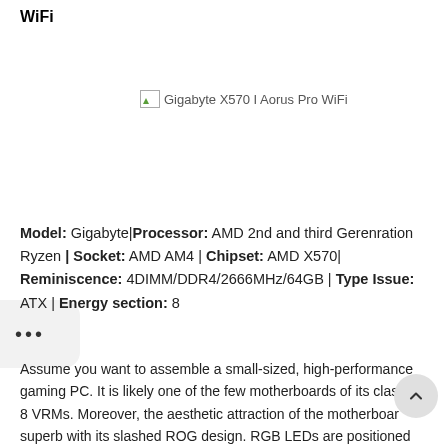WiFi
[Figure (photo): Placeholder image for Gigabyte X570 I Aorus Pro WiFi]
Model: Gigabyte|Processor: AMD 2nd and third Gerenration Ryzen | Socket: AMD AM4 | Chipset: AMD X570| Reminiscence: 4DIMM/DDR4/2666MHz/64GB | Type Issue: ATX | Energy section: 8
Assume you want to assemble a small-sized, high-performance gaming PC. It is likely one of the few motherboards of its class with 8 VRMs. Moreover, the aesthetic attraction of the motherboard is superb with its slashed ROG design. RGB LEDs are positioned on